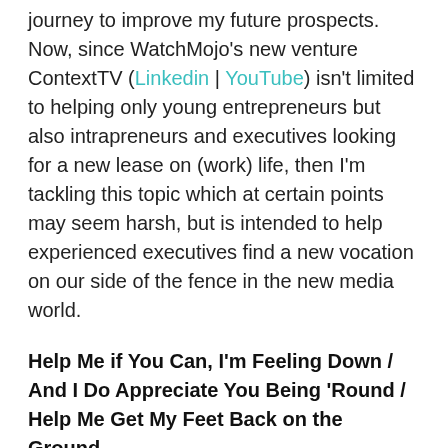journey to improve my future prospects. Now, since WatchMojo's new venture ContextTV (Linkedin | YouTube) isn't limited to helping only young entrepreneurs but also intrapreneurs and executives looking for a new lease on (work) life, then I'm tackling this topic which at certain points may seem harsh, but is intended to help experienced executives find a new vocation on our side of the fence in the new media world.
Help Me if You Can, I'm Feeling Down / And I Do Appreciate You Being 'Round / Help Me Get My Feet Back on the Ground
Everywhere you look, you see old media trying to right-size their organization to better defend their turf and take on new challengers. Print media was the first to feel the impact: magazines and newspapers are more shadows of their former